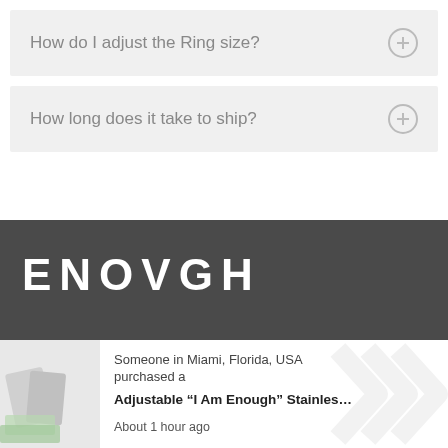How do I adjust the Ring size?
How long does it take to ship?
[Figure (logo): ENOVGH brand logo in white text on dark gray background]
Someone in Miami, Florida, USA purchased a Adjustable "I Am Enough" Stainles... About 1 hour ago
Cart